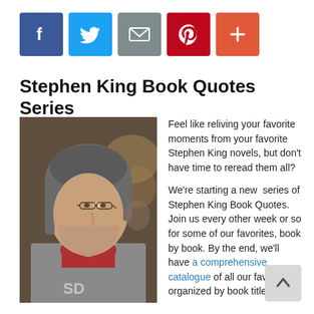[Figure (infographic): Social share buttons: Facebook (blue), Twitter (light blue), Email (gray), Pinterest (red), Plus/add (coral-red)]
Stephen King Book Quotes Series
[Figure (photo): Black and white/color photo of Stephen King in profile, wearing glasses and a gray jacket over a red shirt]
Feel like reliving your favorite moments from your favorite Stephen King novels, but don't have time to reread them all?
We're starting a new series of Stephen King Book Quotes. Join us every other week or so for some of our favorites, book by book. By the end, we'll have a comprehensive catalogue of all our favorites organized by book title.